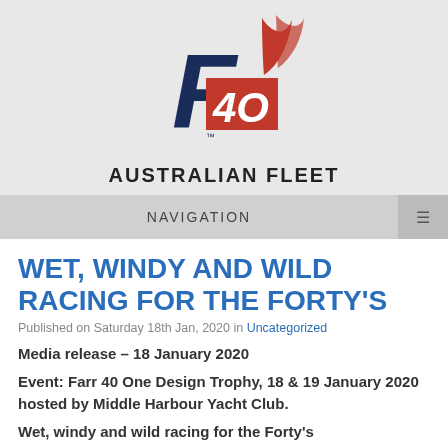[Figure (logo): F40 Farr 40 Australian Fleet logo — stylized navy 'F' with red '40' block and red sail swoosh]
AUSTRALIAN FLEET
NAVIGATION
WET, WINDY AND WILD RACING FOR THE FORTY'S
Published on Saturday 18th Jan, 2020 in Uncategorized
Media release – 18 January 2020
Event: Farr 40 One Design Trophy, 18 & 19 January 2020 hosted by Middle Harbour Yacht Club.
Wet, windy and wild racing for the Forty's
It was gruelling conditions on Sydney Harbour for the first day of